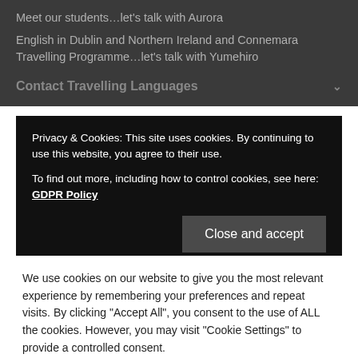Meet our students…let's talk with Aurora
English in Dublin and Northern Ireland and Connemara Travelling Programme…let's talk with Yumehiro
Contact Travelling Languages
Privacy & Cookies: This site uses cookies. By continuing to use this website, you agree to their use.
To find out more, including how to control cookies, see here: GDPR Policy
We use cookies on our website to give you the most relevant experience by remembering your preferences and repeat visits. By clicking "Accept All", you consent to the use of ALL the cookies. However, you may visit "Cookie Settings" to provide a controlled consent.